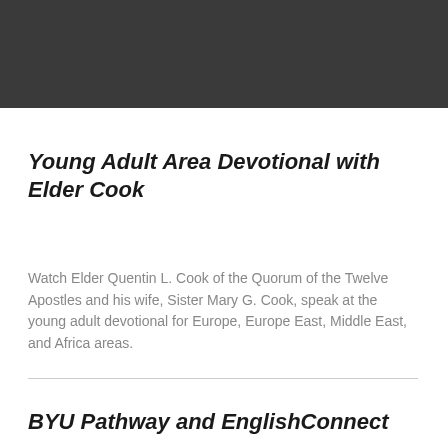[Figure (photo): Dark gray header bar at top of page]
Young Adult Area Devotional with Elder Cook
Watch Elder Quentin L. Cook of the Quorum of the Twelve Apostles and his wife, Sister Mary G. Cook, speak at the young adult devotional for Europe, Europe East, Middle East, and Africa areas.
BYU Pathway and EnglishConnect